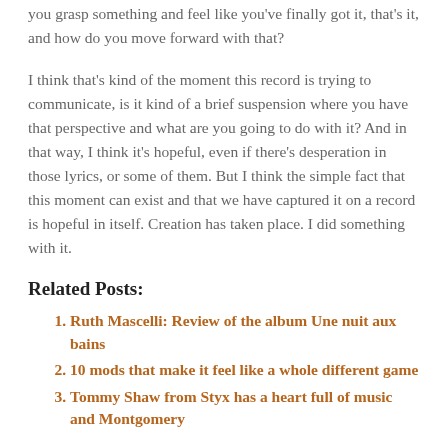you grasp something and feel like you've finally got it, that's it, and how do you move forward with that?
I think that's kind of the moment this record is trying to communicate, is it kind of a brief suspension where you have that perspective and what are you going to do with it? And in that way, I think it's hopeful, even if there's desperation in those lyrics, or some of them. But I think the simple fact that this moment can exist and that we have captured it on a record is hopeful in itself. Creation has taken place. I did something with it.
Related Posts:
Ruth Mascelli: Review of the album Une nuit aux bains
10 mods that make it feel like a whole different game
Tommy Shaw from Styx has a heart full of music and Montgomery